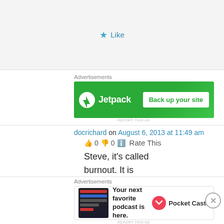[Figure (screenshot): Like button with blue star icon]
Advertisements
[Figure (screenshot): Jetpack advertisement banner: Back up your site]
REPORT THIS AD
docrichard on August 6, 2013 at 11:49 am
👍 0 👎 0 ℹ Rate This
Steve, it's called burnout. It is very common, and I have had it many times. The mind gets saturated, and in order to preserve balance, it
Advertisements
[Figure (screenshot): Pocket Casts advertisement: Your next favorite podcast is here.]